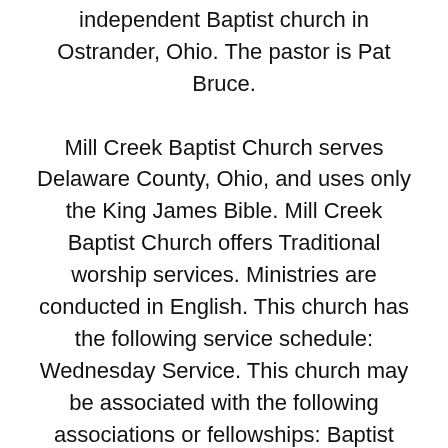independent Baptist church in Ostrander, Ohio. The pastor is Pat Bruce.

Mill Creek Baptist Church serves Delaware County, Ohio, and uses only the King James Bible. Mill Creek Baptist Church offers Traditional worship services. Ministries are conducted in English. This church has the following service schedule: Wednesday Service. This church may be associated with the following associations or fellowships: Baptist Bible Fellowship International. The pastor and/or staff of this church may be associated with or graduated from one or more of the following